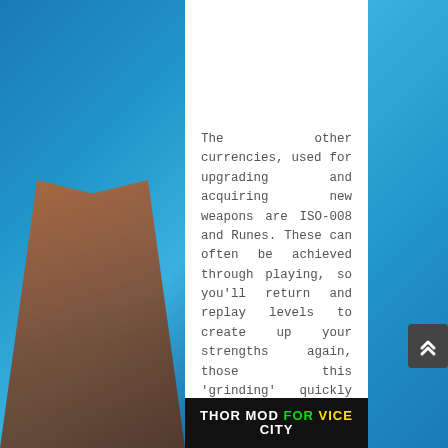The other currencies, used for upgrading and acquiring new weapons are ISO-008 and Runes. These can often be achieved through playing, so you'll return and replay levels to create up your strengths again, those this 'grinding' quickly becomes boring due to the repetitive nature of the gameplay.
[Figure (screenshot): Banner image for 'THOR MOD FOR VICE CITY' with white and green/yellow text on dark background]